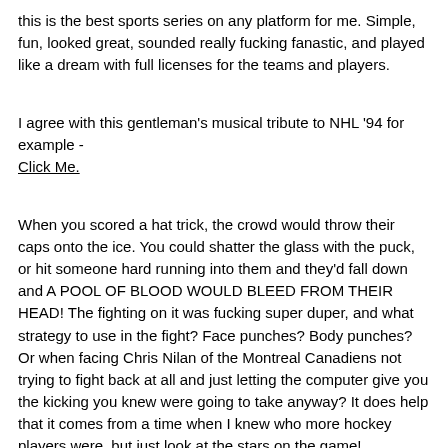this is the best sports series on any platform for me. Simple, fun, looked great, sounded really fucking fanastic, and played like a dream with full licenses for the teams and players.
I agree with this gentleman's musical tribute to NHL '94 for example - Click Me.
When you scored a hat trick, the crowd would throw their caps onto the ice. You could shatter the glass with the puck, or hit someone hard running into them and they'd fall down and A POOL OF BLOOD WOULD BLEED FROM THEIR HEAD! The fighting on it was fucking super duper, and what strategy to use in the fight? Face punches? Body punches? Or when facing Chris Nilan of the Montreal Canadiens not trying to fight back at all and just letting the computer give you the kicking you knew were going to take anyway? It does help that it comes from a time when I knew who more hockey players were, but just look at the stars on the game!